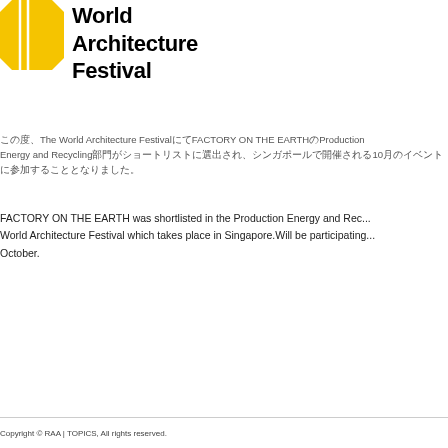[Figure (logo): World Architecture Festival yellow hexagon logo with text 'World Architecture Festival']
この度、The World Architecture FestivalにてFACTORY ON THE EARTH（Production Energy and Recycling部門）がショートリストに選出され、シンガポールで開催されるWorld Architecture Festival（WAF）に10月のイベントに参加することとなりました。
FACTORY ON THE EARTH was shortlisted in the Production Energy and Recycling category of the World Architecture Festival which takes place in Singapore.Will be participating in the event taking place in October.
Copyright © RAA | TOPICS, All rights reserved.